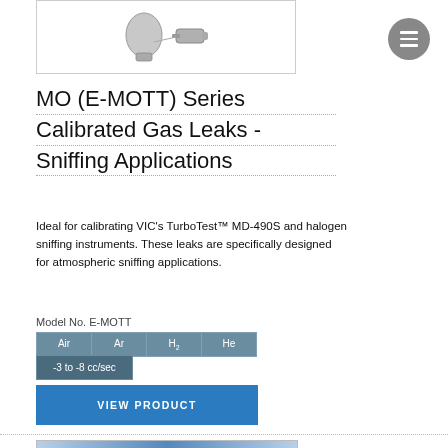[Figure (photo): Product photo of E-MOTT calibrated gas leak device, showing a rounded bulb/valve component and a cylindrical connector piece on white background]
MO (E-MOTT) Series Calibrated Gas Leaks - Sniffing Applications
Ideal for calibrating VIC’s TurboTest™ MD-490S and halogen sniffing instruments. These leaks are specifically designed for atmospheric sniffing applications.
Model No. E-MOTT
Air
Ar
H₂
He
-3 to -8 cc/sec
VIEW PRODUCT
[Figure (photo): Bottom portion of another product image, appears to be a blue electronic/instrument device]